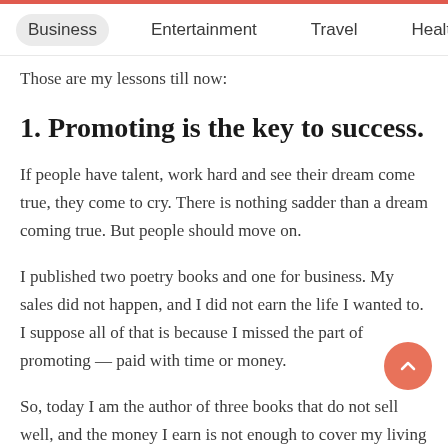Business  Entertainment  Travel  Health
Those are my lessons till now:
1. Promoting is the key to success.
If people have talent, work hard and see their dream come true, they come to cry. There is nothing sadder than a dream coming true. But people should move on.
I published two poetry books and one for business. My sales did not happen, and I did not earn the life I wanted to. I suppose all of that is because I missed the part of promoting — paid with time or money.
So, today I am the author of three books that do not sell well, and the money I earn is not enough to cover my living